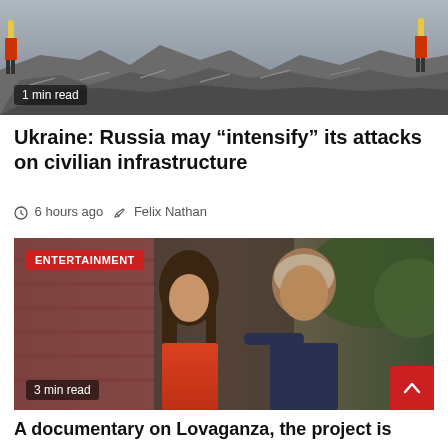[Figure (photo): Aerial view of rubble and debris from a destroyed building, with firefighters visible]
1 min read
Ukraine: Russia may “intensify” its attacks on civilian infrastructure
⏰ 6 hours ago   ✎ Felix Nathan
[Figure (photo): A woman in a red top and a man in a dark t-shirt standing together outdoors, with an ENTERTAINMENT label badge overlay]
3 min read
A documentary on Lovaganza, the project is